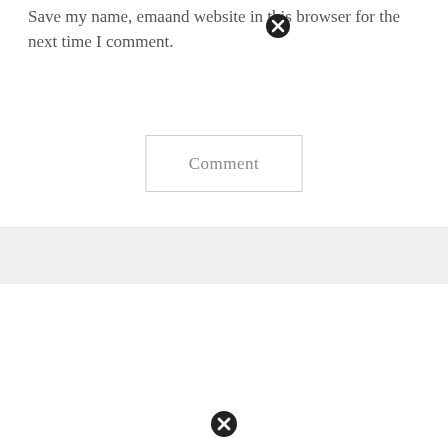Save my name, email, and website in this browser for the next time I comment.
Comment
Search
Search
[Figure (other): Close/cancel X icon circle button at bottom of page]